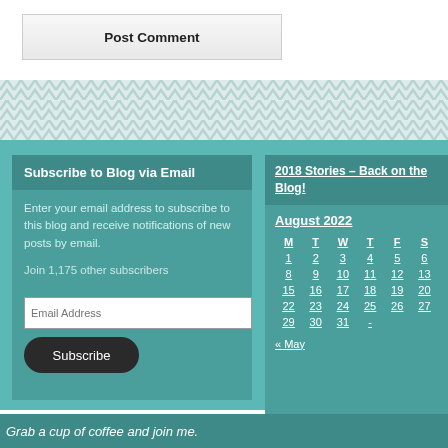Post Comment
[Figure (infographic): Herringbone/chevron pattern divider in light teal/grey]
Subscribe to Blog via Email
Enter your email address to subscribe to this blog and receive notifications of new posts by email.
Join 1,175 other subscribers
Email Address
Subscribe
2018 Stories – Back on the Blog!
| M | T | W | T | F | S |
| --- | --- | --- | --- | --- | --- |
| 1 | 2 | 3 | 4 | 5 | 6 |
| 8 | 9 | 10 | 11 | 12 | 13 |
| 15 | 16 | 17 | 18 | 19 | 20 |
| 22 | 23 | 24 | 25 | 26 | 27 |
| 29 | 30 | 31 |  |  |  |
« May
Grab a cup of coffee and join me.